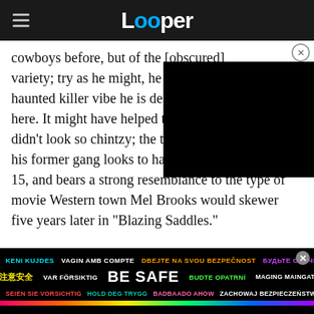Looper
cowboys before, but of the [obscured] variety; try as he might, he j[obscured] haunted killer vibe he is des[obscured] here. It might have helped t[obscured] didn't look so chintzy; the town he protects from his former gang looks to have a population of about 15, and bears a strong resemblance to the type of movie Western town Mel Brooks would skewer five years later in "Blazing Saddles."
[Figure (screenshot): Black video player overlay in upper right corner of content area]
KENI KUJDES  VAGIN AMB COMPTE  DBEJTE NA SVOU BEZPEČNOST  БУДЬТЕ ОБАЧНИМИ  注意安全  VAR FÖRSIKTIG  BE SAFE  BUDTE OPATRNÍ  MAGING MAINGAT  SEIEN SIE VORSICHTIG  HOLD DEG TRYGG  BADBAADO AHOW  ZACHOWAJ BEZPIECZEŃSTWO